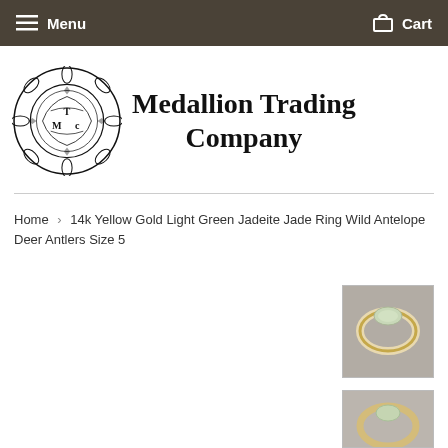Menu   Cart
[Figure (logo): Medallion Trading Company logo: ornate circular emblem with TMC monogram and decorative scrollwork, next to text 'Medallion Trading Company']
Home › 14k Yellow Gold Light Green Jadeite Jade Ring Wild Antelope Deer Antlers Size 5
[Figure (photo): Close-up photo of a jade ring on a gray background]
[Figure (photo): Partial view of a second product photo]